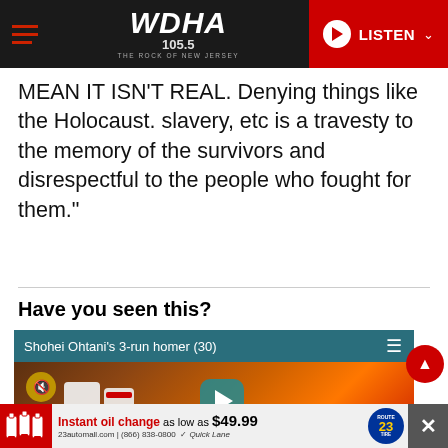WDHA 105.5 THE ROCK OF NEW JERSEY — LISTEN
MEAN IT ISN'T REAL. Denying things like the Holocaust. slavery, etc is a travesty to the memory of the survivors and disrespectful to the people who fought for them."
Have you seen this?
[Figure (screenshot): Embedded video player showing 'Shohei Ohtani's 3-run homer (30)' with baseball players in Angels uniforms against a fiery background. A mute button and play button overlay are visible.]
[Figure (advertisement): Ad banner for 23automall.com offering instant oil change as low as $49.99. Phone: (866) 838-0800. Quick Lane logo visible. Route 23 badge shown.]